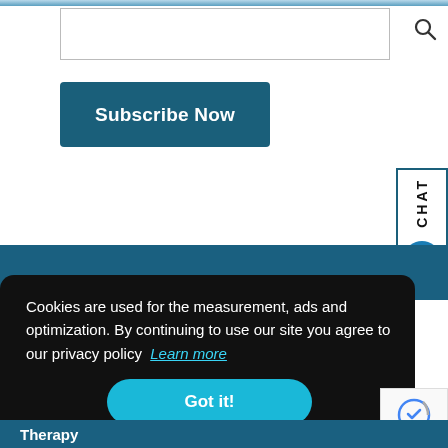[Figure (screenshot): Search input box (text field) with a search/magnifying glass icon to the right]
[Figure (screenshot): Subscribe Now button with dark teal background and white bold text]
[Figure (screenshot): Chat widget on right edge showing 'CHAT' text vertically with chat bubble icon]
Cookies are used for the measurement, ads and optimization. By continuing to use our site you agree to our privacy policy Learn more
[Figure (screenshot): Got it! button with teal/cyan rounded background and white bold text]
[Figure (screenshot): reCAPTCHA widget showing robot checkbox icon and Privacy - Terms text]
Therapy